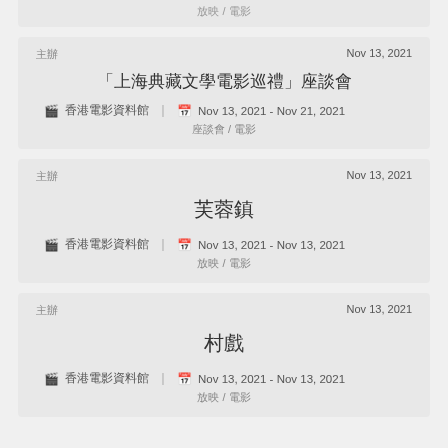放映 / 電影
主辦
Nov 13, 2021
「上海典藏文學電影巡禮」座談會
🎬 香港電影資料館 | 📅 Nov 13, 2021 - Nov 21, 2021
座談會 / 電影
主辦
Nov 13, 2021
芙蓉鎮
🎬 香港電影資料館 | 📅 Nov 13, 2021 - Nov 13, 2021
放映 / 電影
主辦
Nov 13, 2021
村戲
🎬 香港電影資料館 | 📅 Nov 13, 2021 - Nov 13, 2021
放映 / 電影